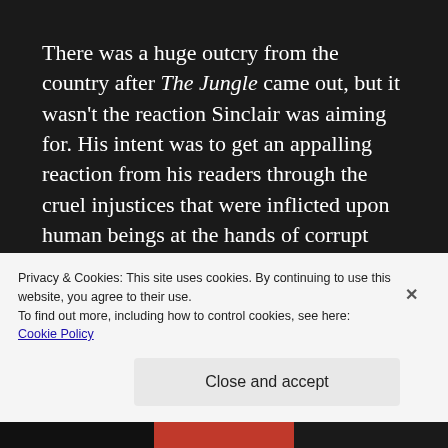There was a huge outcry from the country after The Jungle came out, but it wasn't the reaction Sinclair was aiming for. His intent was to get an appalling reaction from his readers through the cruel injustices that were inflicted upon human beings at the hands of corrupt individuals, politicians, and corporations.
Instead, America was sickened by the dirty and
Privacy & Cookies: This site uses cookies. By continuing to use this website, you agree to their use.
To find out more, including how to control cookies, see here: Cookie Policy
Close and accept